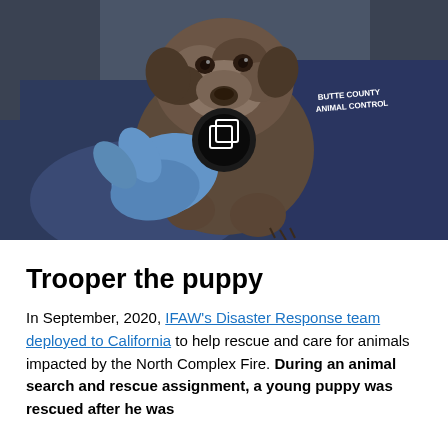[Figure (photo): A Butte County Animal Control officer wearing blue gloves holds a small injured puppy (Trooper). The puppy is dark brindle colored and appears to have mange or burns on its skin. The officer is wearing a dark navy shirt with 'BUTTE COUNTY ANIMAL CONTROL' text visible.]
Trooper the puppy
In September, 2020, IFAW's Disaster Response team deployed to California to help rescue and care for animals impacted by the North Complex Fire. During an animal search and rescue assignment, a young puppy was rescued after he was